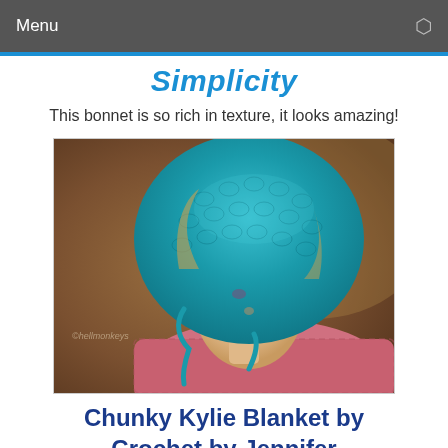Menu
Simplicity
This bonnet is so rich in texture, it looks amazing!
[Figure (photo): A young girl wearing a chunky teal crochet bonnet tied under her chin, looking upward to the right, with a warm brown background. Watermark reading '©hellmonkeys' visible in lower left.]
Chunky Kylie Blanket by Crochet by Jennifer